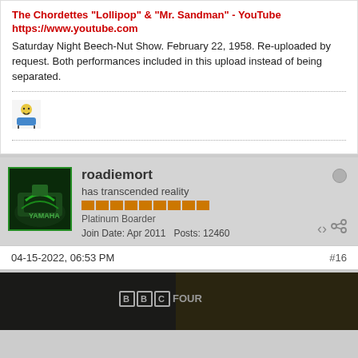The Chordettes "Lollipop" & "Mr. Sandman" - YouTube
https://www.youtube.com
Saturday Night Beech-Nut Show. February 22, 1958. Re-uploaded by request. Both performances included in this upload instead of being separated.
[Figure (photo): Small avatar/icon of a character]
roadiemort
has transcended reality
Platinum Boarder
Join Date: Apr 2011   Posts: 12460
04-15-2022, 06:53 PM
#16
[Figure (screenshot): Dark video still showing BBC FOUR logo text on a dark background]